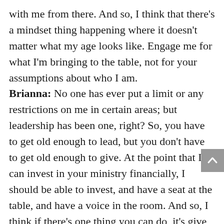with me from there. And so, I think that there's a mindset thing happening where it doesn't matter what my age looks like. Engage me for what I'm bringing to the table, not for your assumptions about who I am.
Brianna: No one has ever put a limit or any restrictions on me in certain areas; but leadership has been one, right? So, you have to get old enough to lead, but you don't have to get old enough to give. At the point that I can invest in your ministry financially, I should be able to invest, and have a seat at the table, and have a voice in the room. And so, I think if there's one thing you can do, it's give millennials both voice and value. That's gonna be important because we don't just want to believe that you want us there like a notch on your belt, 'cause that's tacky. We wanna believe that you want us to be there to be a legitimate part of the